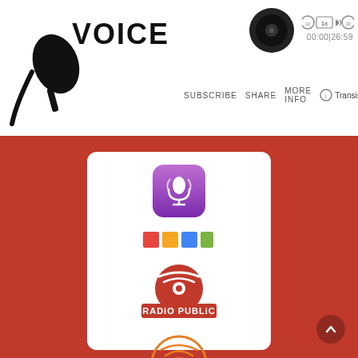[Figure (screenshot): Podcast player interface top bar with logo 'VOICE', podcast artwork, playback controls including rewind, 1x speed, volume, fast-forward buttons, and time display 00:00|26:59, along with SUBSCRIBE, SHARE, MORE INFO links and Transistor branding]
[Figure (screenshot): White card on red background showing podcast platform logos: Apple Podcasts (purple icon), a colorful bar logo, RadioPublic (red circle with signal waves and banner), an orange broadcast tower icon, and a partially visible platform logo at bottom]